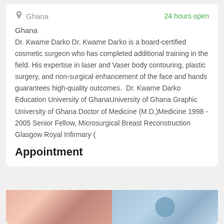Ghana · 24 hours open
Ghana
Dr. Kwame Darko Dr. Kwame Darko is a board-certified cosmetic surgeon who has completed additional training in the field. His expertise in laser and Vaser body contouring, plastic surgery, and non-surgical enhancement of the face and hands guarantees high-quality outcomes.  Dr. Kwame Darko Education University of GhanaUniversity of Ghana Graphic University of Ghana Doctor of Medicine (M.D.)Medicine 1998 - 2005 Senior Fellow, Microsurgical Breast Reconstruction Glasgow Royal Infirmary (
Appointment
[Figure (photo): Two side-by-side medical/cosmetic images: left shows skin/body area in warm pink tones, right shows hands or medical procedure in blue/clinical tones]